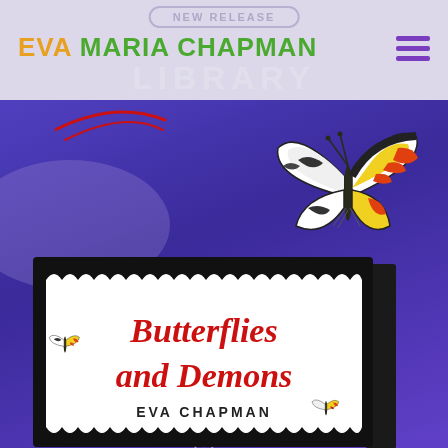NEW RELEASE
EVA MARIA CHAPMAN
LIBRARY
[Figure (illustration): Colorful butterfly with black, white, yellow, and orange-red wings flying above a book cover, against a purple gradient background]
[Figure (illustration): Book cover for 'Butterflies and Demons' by Eva Chapman, displayed as a 3D book with black scalloped border on white background, red serif title text, with small butterfly illustrations on the cover]